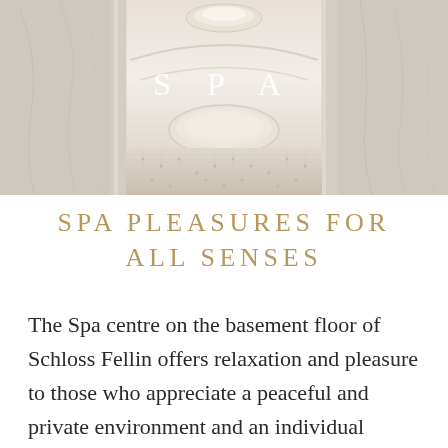[Figure (photo): Luxurious spa interior with marble walls, mosaic tile floor, circular ceiling light, and elegant curved architecture. White text 'S P A' is overlaid in the center of the image.]
SPA PLEASURES FOR ALL SENSES
The Spa centre on the basement floor of Schloss Fellin offers relaxation and pleasure to those who appreciate a peaceful and private environment and an individual approach. In the rooms with a historical aura, luxurious treatments and